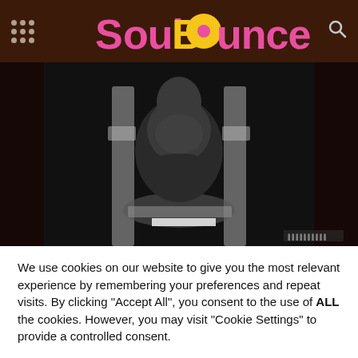SoulBounce
[Figure (photo): Black and white photo of a shirtless male artist seated on an ornate throne-like chair, arms crossed over chest, dramatic lighting against a dark background]
We use cookies on our website to give you the most relevant experience by remembering your preferences and repeat visits. By clicking “Accept All”, you consent to the use of ALL the cookies. However, you may visit "Cookie Settings" to provide a controlled consent.
Cookie Settings | Accept All